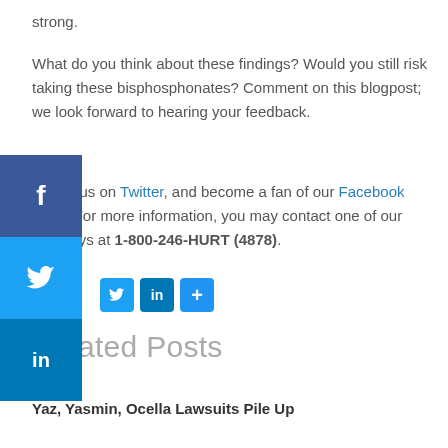strong.
What do you think about these findings? Would you still risk taking these bisphosphonates? Comment on this blogpost; we look forward to hearing your feedback.
Follow us on Twitter, and become a fan of our Facebook page. For more information, you may contact one of our attorneys at 1-800-246-HURT (4878).
[Figure (infographic): Social sharing buttons: Twitter, LinkedIn, and more (+) icons]
Related Posts
Yaz, Yasmin, Ocella Lawsuits Pile Up